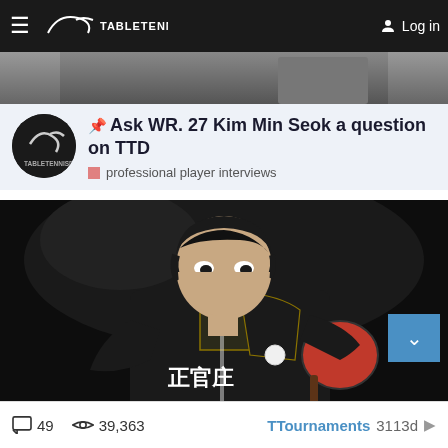TABLETENNISDAILY  Log in
[Figure (photo): Partial image of table tennis player at top of page]
📌 Ask WR. 27 Kim Min Seok a question on TTD
professional player interviews
[Figure (photo): Photo of Kim Min Seok, a table tennis player wearing a black uniform, preparing to hit a ball. Chinese characters visible on his chest. Dark background.]
49  39,363  TTournaments 3113d